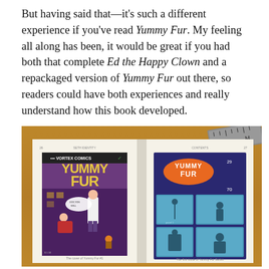But having said that—it's such a different experience if you've read Yummy Fur. My feeling all along has been, it would be great if you had both that complete Ed the Happy Clown and a repackaged version of Yummy Fur out there, so readers could have both experiences and really understand how this book developed.
[Figure (photo): A photograph of an open book lying on a wooden table, showing two pages of what appears to be a comics anthology. The left page shows the Vortex Comics 'Yummy Fur' comic book cover featuring illustrated characters. The right page shows a dark purple/navy page with 'Yummy Fur' in orange lettering and four comic panel thumbnails. A ruler is visible in the upper right corner of the photo.]